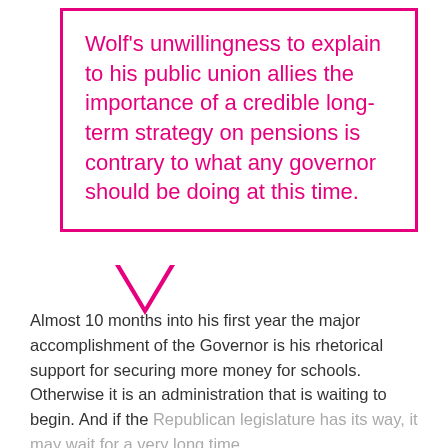Wolf's unwillingness to explain to his public union allies the importance of a credible long-term strategy on pensions is contrary to what any governor should be doing at this time.
Almost 10 months into his first year the major accomplishment of the Governor is his rhetorical support for securing more money for schools. Otherwise it is an administration that is waiting to begin. And if the Republican legislature has its way, it may wait for a very long time.